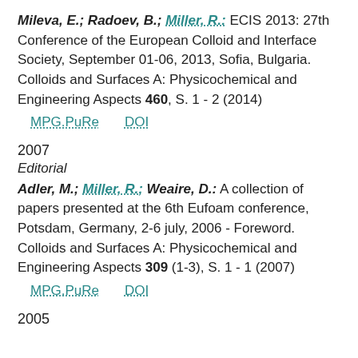Mileva, E.; Radoev, B.; Miller, R.: ECIS 2013: 27th Conference of the European Colloid and Interface Society, September 01-06, 2013, Sofia, Bulgaria. Colloids and Surfaces A: Physicochemical and Engineering Aspects 460, S. 1 - 2 (2014)
MPG.PuRe   DOI
2007
Editorial
Adler, M.; Miller, R.; Weaire, D.: A collection of papers presented at the 6th Eufoam conference, Potsdam, Germany, 2-6 july, 2006 - Foreword. Colloids and Surfaces A: Physicochemical and Engineering Aspects 309 (1-3), S. 1 - 1 (2007)
MPG.PuRe   DOI
2005